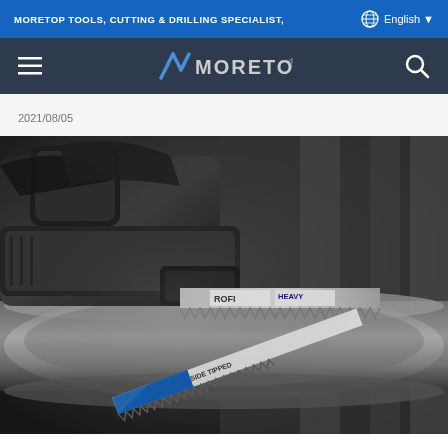MORETOP TOOLS, CUTTING & DRILLING SPECIALIST,  English
[Figure (logo): MORETOP brand logo with navigation bar on dark blue background]
2021/08/05
[Figure (photo): Close-up black and white photo of a reciprocating saw cutting a metal pipe, with saw blades labeled ROFI HEAVY and SIDE TIPPED visible]